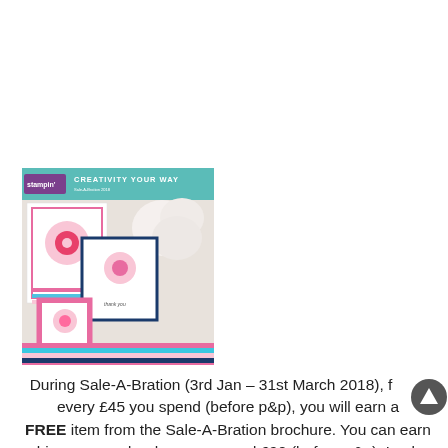[Figure (photo): Cover of a Stampin' Up! Sale-A-Bration brochure titled 'Creativity Your Way', showing colorful handmade greeting cards with flowers and a Stampin' Up! logo on a purple banner.]
During Sale-A-Bration (3rd Jan – 31st March 2018), for every £45 you spend (before p&p), you will earn a FREE item from the Sale-A-Bration brochure. You can earn bigger rewards when you spend £90 (before p&p). Look